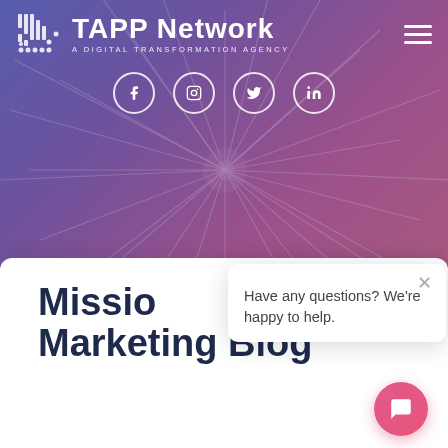[Figure (screenshot): TAPP Network website header with dandelion background, logo, social icons, navigation, and a chat popup. Title reads 'Mission... Marketing Blog'.]
TAPP Network — A DIGITAL TRANSFORMATION AGENCY
Have any questions? We're happy to help.
Mission... Marketing Blog